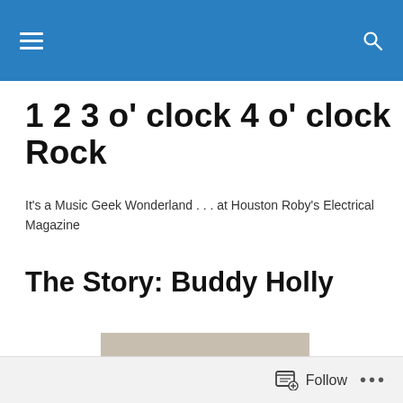1 2 3 o' clock 4 o' clock Rock
It's a Music Geek Wonderland . . . at Houston Roby's Electrical Magazine
The Story: Buddy Holly
[Figure (photo): Black and white photo of Buddy Holly wearing thick-framed glasses, looking slightly downward, wearing a light-colored shirt or jacket]
Follow